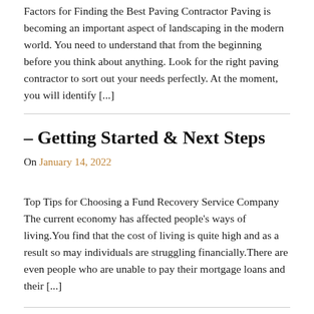Factors for Finding the Best Paving Contractor Paving is becoming an important aspect of landscaping in the modern world. You need to understand that from the beginning before you think about anything. Look for the right paving contractor to sort out your needs perfectly. At the moment, you will identify [...]
– Getting Started & Next Steps
On January 14, 2022
Top Tips for Choosing a Fund Recovery Service Company The current economy has affected people's ways of living.You find that the cost of living is quite high and as a result so may individuals are struggling financially.There are even people who are unable to pay their mortgage loans and their [...]